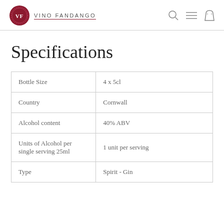Vino Fandango
Specifications
| Bottle Size | 4 x 5cl |
| Country | Cornwall |
| Alcohol content | 40% ABV |
| Units of Alcohol per single serving 25ml | 1 unit per serving |
| Type | Spirit - Gin |